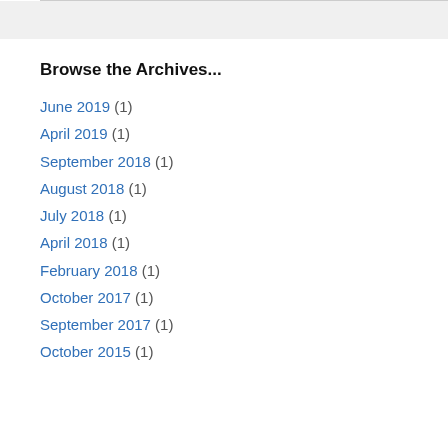Browse the Archives...
June 2019 (1)
April 2019 (1)
September 2018 (1)
August 2018 (1)
July 2018 (1)
April 2018 (1)
February 2018 (1)
October 2017 (1)
September 2017 (1)
October 2015 (1)